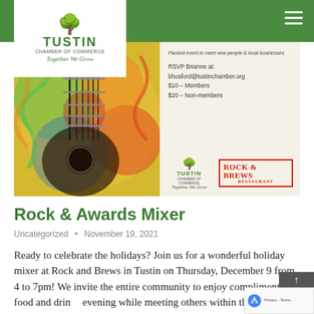[Figure (screenshot): Tustin Chamber of Commerce website screenshot showing navigation bar with green background and hamburger menu, logo with white box, hero image of colorful guitar art on left and event RSVP info on right with Tustin Chamber and Rock & Brews logos]
Rock & Awards Mixer
Uncategorized • November 19, 2021
Ready to celebrate the holidays? Join us for a wonderful holiday mixer at Rock and Brews in Tustin on Thursday, December 9 from 4 to 7pm! We invite the entire community to enjoy complimentary food and drinks evening while meeting others within the Tustin area. The